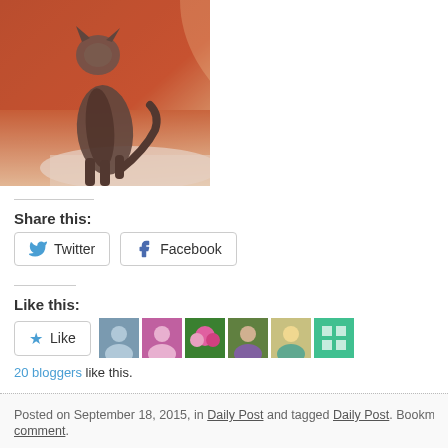[Figure (photo): A tabby cat standing on a red and white rug/carpet, photographed from behind/side. The photo has a warm, vintage tint with reddish-orange tones.]
Share this:
Twitter  Facebook
Like this:
Like
20 bloggers like this.
Posted on September 18, 2015, in Daily Post and tagged Daily Post. Bookmark th… comment.